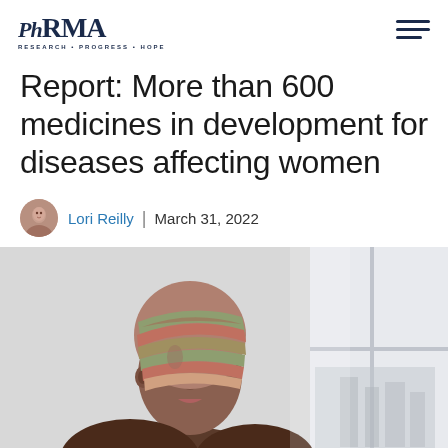PhRMA — RESEARCH • PROGRESS • HOPE
Report: More than 600 medicines in development for diseases affecting women
Lori Reilly | March 31, 2022
[Figure (photo): Portrait photo of an older Black woman wearing a colorful striped headwrap, looking thoughtfully to the side near a window with a blurred city background.]